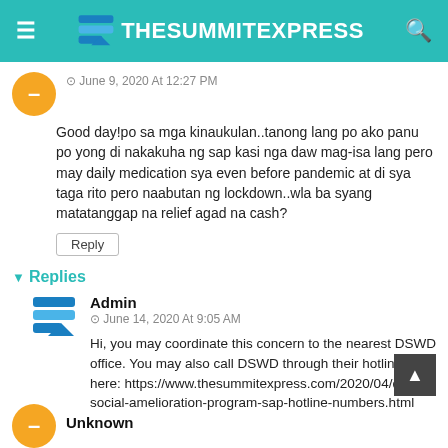TheSummitExpress
June 9, 2020 At 12:27 PM
Good day!po sa mga kinaukulan..tanong lang po ako panu po yong di nakakuha ng sap kasi nga daw mag-isa lang pero may daily medication sya even before pandemic at di sya taga rito pero naabutan ng lockdown..wla ba syang matatanggap na relief agad na cash?
Reply
Replies
Admin
June 14, 2020 At 9:05 AM
Hi, you may coordinate this concern to the nearest DSWD office. You may also call DSWD through their hotline here: https://www.thesummitexpress.com/2020/04/dswd-social-amelioration-program-sap-hotline-numbers.html
Unknown